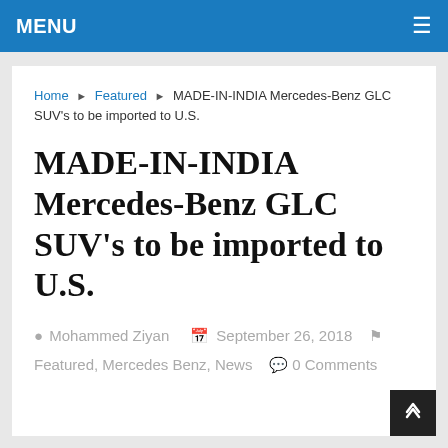MENU
Home ▶ Featured ▶ MADE-IN-INDIA Mercedes-Benz GLC SUV's to be imported to U.S.
MADE-IN-INDIA Mercedes-Benz GLC SUV's to be imported to U.S.
Mohammed Ziyan  September 26, 2018  Featured, Mercedes Benz, News  0 Comments